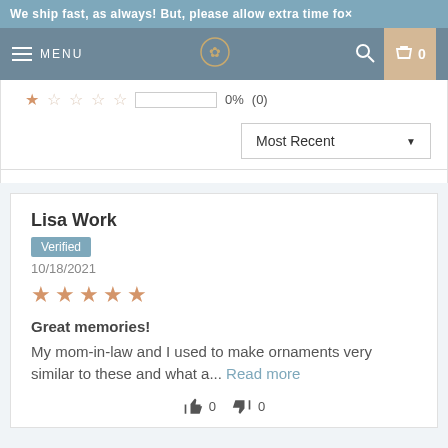We ship fast, as always! But, please allow extra time fo×
MENU | [logo] | [search] | 0
[Figure (other): Star rating row showing 1 filled star and 4 empty stars, a progress bar, 0% (0)]
[Figure (other): Most Recent sort dropdown]
Lisa Work
Verified
10/18/2021
[Figure (other): 5 filled gold stars rating]
Great memories!
My mom-in-law and I used to make ornaments very similar to these and what a... Read more